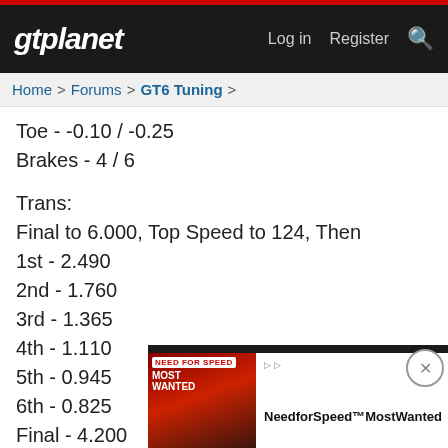gtplanet  Log in  Register
Home > Forums > GT6 Tuning >
Toe - -0.10 / -0.25
Brakes - 4 / 6

Trans:
Final to 6.000, Top Speed to 124, Then
1st - 2.490
2nd - 1.760
3rd - 1.365
4th - 1.110
5th - 0.945
6th - 0.825
Final - 4.200

LSD:
Initial - 8
Accel - 1
Decel - 5

Ballast 8
[Figure (screenshot): Advertisement overlay for Need for Speed Most Wanted by EA with Learn more CTA]